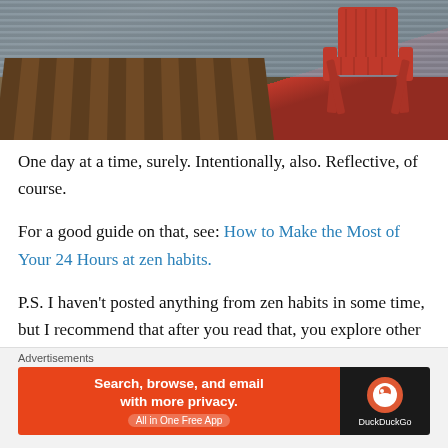[Figure (photo): A red Adirondack chair on a wooden dock beside a lake with rippling water]
One day at a time, surely. Intentionally, also. Reflective, of course.
For a good guide on that, see: How to Make the Most of Your 24 Hours at zen habits.
P.S. I haven't posted anything from zen habits in some time, but I recommend that after you read that, you explore other posts on his blog. Worthwhile, I recall.
Advertisements
[Figure (screenshot): DuckDuckGo advertisement banner: Search, browse, and email with more privacy. All in One Free App]